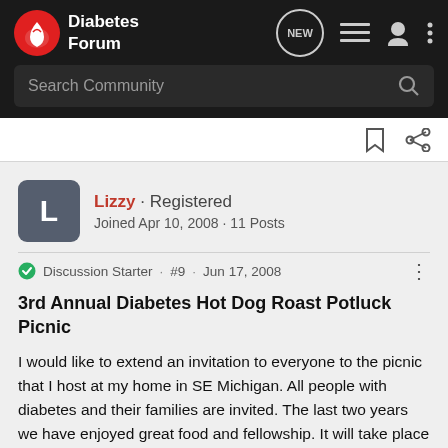Diabetes Forum
Search Community
Lizzy · Registered
Joined Apr 10, 2008 · 11 Posts
Discussion Starter · #9 · Jun 17, 2008
3rd Annual Diabetes Hot Dog Roast Potluck Picnic
I would like to extend an invitation to everyone to the picnic that I host at my home in SE Michigan. All people with diabetes and their families are invited. The last two years we have enjoyed great food and fellowship. It will take place on July 27th